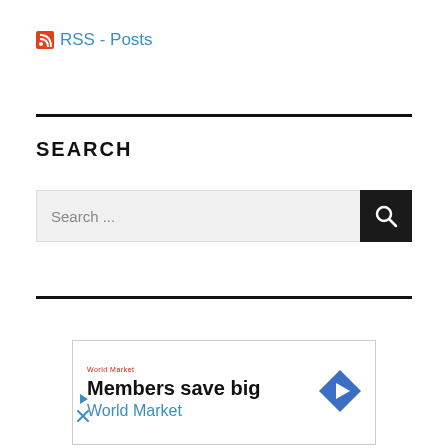RSS - Posts
SEARCH
[Figure (screenshot): Search input bar with placeholder text 'Search ...' and a black search button with magnifying glass icon]
[Figure (infographic): Advertisement banner: 'Members save big - World Market' with a blue diamond navigation icon and small play/close controls]